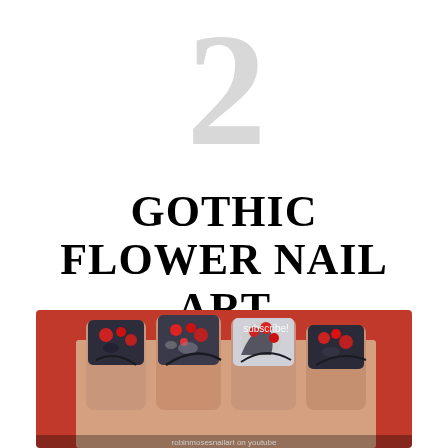2
GOTHIC FLOWER NAIL ART
[Figure (photo): Close-up photo of a hand with gothic flower nail art — dark black/grey nails with red flowers and dark leaves painted on them, set against a red background. Text 'subscribe!' visible in the photo, and a watermark at the bottom reading 'robinmosesnailart on youtube'.]